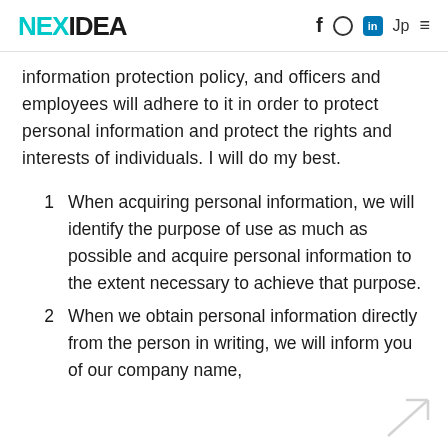NEXIDEA   f  [instagram]  in  Jp  ≡
information protection policy, and officers and employees will adhere to it in order to protect personal information and protect the rights and interests of individuals. I will do my best.
1  When acquiring personal information, we will identify the purpose of use as much as possible and acquire personal information to the extent necessary to achieve that purpose.
2  When we obtain personal information directly from the person in writing, we will inform you of our company name,